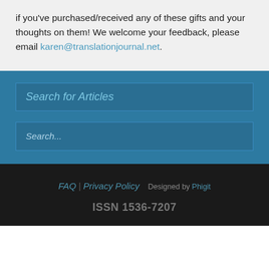if you've purchased/received any of these gifts and your thoughts on them! We welcome your feedback, please email karen@translationjournal.net.
Search for Articles
Search...
FAQ | Privacy Policy  Designed by Phigit  ISSN 1536-7207